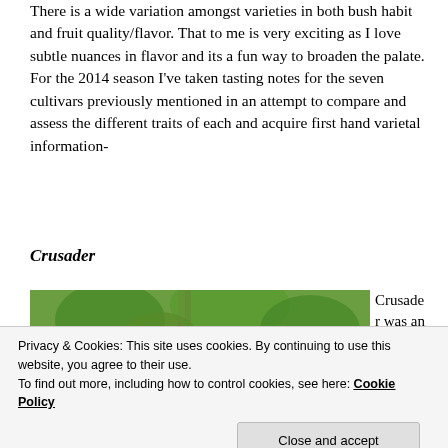There is a wide variation amongst varieties in both bush habit and fruit quality/flavor. That to me is very exciting as I love subtle nuances in flavor and its a fun way to broaden the palate. For the 2014 season I've taken tasting notes for the seven cultivars previously mentioned in an attempt to compare and assess the different traits of each and acquire first hand varietal information-
Crusader
[Figure (photo): Photo of black currant berries hanging on a bush with green leaves visible in the background.]
Crusader was an
Centra
Privacy & Cookies: This site uses cookies. By continuing to use this website, you agree to their use.
To find out more, including how to control cookies, see here: Cookie Policy
Close and accept